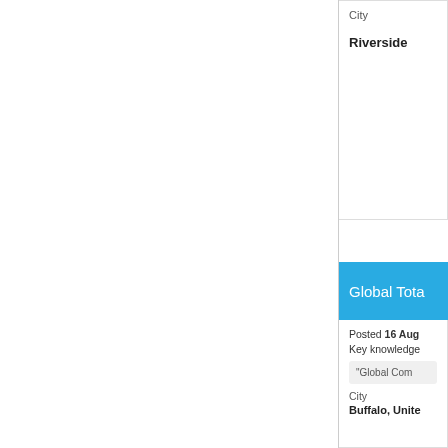City
Riverside
Global Tota
Posted 16 Aug
Key knowledge
"Global Com
City
Buffalo, Unite